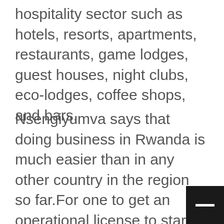hospitality sector such as hotels, resorts, apartments, restaurants, game lodges, guest houses, night clubs, eco-lodges, coffee shops, and bars.
Nsengiyumva says that doing business in Rwanda is much easier than in any other country in the region so far.For one to get an operational license to start his/her business, for example, one only needs to apply online and to follow the guidelines designed by Rwanda development Board [RDB].